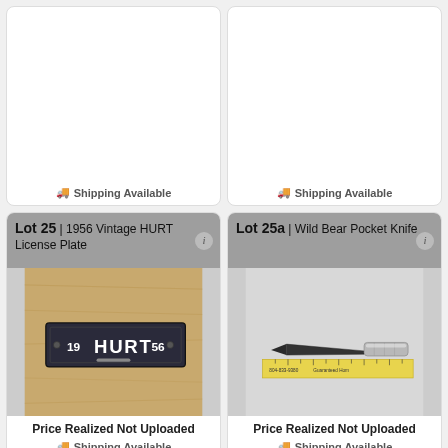Shipping Available
Shipping Available
Lot 25 | 1956 Vintage HURT License Plate
[Figure (photo): Photo of a 1956 vintage HURT license plate, dark colored metal plate with white lettering showing '19 HURT 56', placed on a wooden surface]
Price Realized Not Uploaded
Shipping Available
Lot 25a | Wild Bear Pocket Knife
[Figure (photo): Photo of a small pocket knife with a silver handle and dark blade, placed next to a yellow ruler/measuring tape showing '804-833-9380 Guaranteed Home']
Price Realized Not Uploaded
Shipping Available